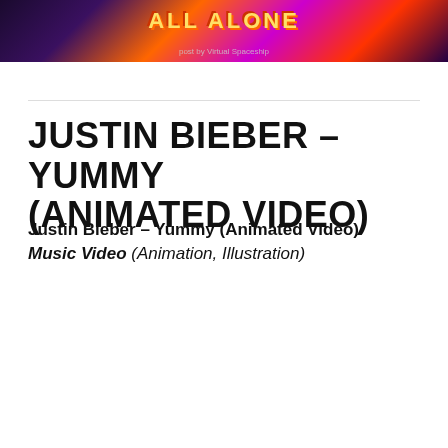[Figure (screenshot): Top banner image with colorful animation showing 'ALL ALONE' text with psychedelic background]
JUSTIN BIEBER – YUMMY (ANIMATED VIDEO)
Justin Bieber – Yummy (Animated Video)
Music Video (Animation, Illustration)
[Figure (screenshot): YouTube embed thumbnail showing Justin Bieber - Yummy (Animated Video) with red curtain background, yellow 'yummy' text, and red play button]